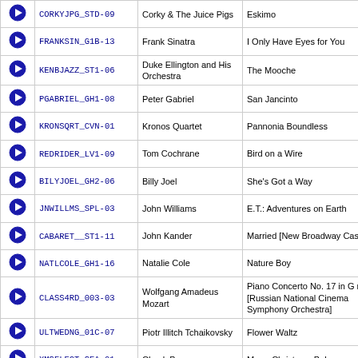|  | Code | Artist | Title |
| --- | --- | --- | --- |
| ▶ | CORKYJPG_STD-09 | Corky & The Juice Pigs | Eskimo |
| ▶ | FRANKSIN_G1B-13 | Frank Sinatra | I Only Have Eyes for You |
| ▶ | KENBJAZZ_ST1-06 | Duke Ellington and His Orchestra | The Mooche |
| ▶ | PGABRIEL_GH1-08 | Peter Gabriel | San Jancinto |
| ▶ | KRONSQRT_CVN-01 | Kronos Quartet | Pannonia Boundless |
| ▶ | REDRIDER_LV1-09 | Tom Cochrane | Bird on a Wire |
| ▶ | BILYJOEL_GH2-06 | Billy Joel | She's Got a Way |
| ▶ | JNWILLMS_SPL-03 | John Williams | E.T.: Adventures on Earth |
| ▶ | CABARET__ST1-11 | John Kander | Married [New Broadway Cast] |
| ▶ | NATLCOLE_GH1-16 | Natalie Cole | Nature Boy |
| ▶ | CLASS4RD_003-03 | Wolfgang Amadeus Mozart | Piano Concerto No. 17 in G major [Russian National Cinema Symphony Orchestra] |
| ▶ | ULTWEDNG_01C-07 | Piotr Illitch Tchaikovsky | Flower Waltz |
| ▶ | XMSELECT_SEA-01 | Chuck Berry | Merry Christmas Baby |
| ▶ | JUNO______ST1-13 | Kimya Dawson | So Nice So Smart |
| ▶ | FRANKSIN_G1A-05 | Frank Sinatra | Guess I'll Hang My Tears Out to Dry |
| ▶ | RATPACK__ANY-06 | Sammy Davis Jr. | Two Different Worlds |
| ▶ | POWERTRK_079-18 | Nat King Cole | Mona Lisa |
| ▶ | PAVAROTI_ICP-01 | Luciano Pavarotti | Overture [Live] |
| ▶ | DTRANDOM_042-05 | Peter Gabriel | The Book Of Love |